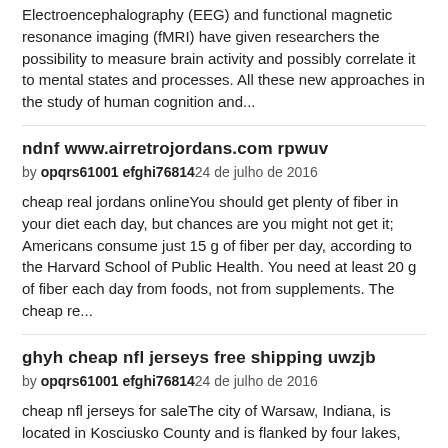Electroencephalography (EEG) and functional magnetic resonance imaging (fMRI) have given researchers the possibility to measure brain activity and possibly correlate it to mental states and processes. All these new approaches in the study of human cognition and...
ndnf www.airretrojordans.com rpwuv
by opqrs61001 efghi76814 24 de julho de 2016
cheap real jordans onlineYou should get plenty of fiber in your diet each day, but chances are you might not get it; Americans consume just 15 g of fiber per day, according to the Harvard School of Public Health. You need at least 20 g of fiber each day from foods, not from supplements. The cheap re...
ghyh cheap nfl jerseys free shipping uwzjb
by opqrs61001 efghi76814 24 de julho de 2016
cheap nfl jerseys for saleThe city of Warsaw, Indiana, is located in Kosciusko County and is flanked by four lakes, Winona Lake, Pike Lake, Hidden <!--loop--> authentic new york titans jersey <!--end loop--> Lake and Center Lake which is why it has earned the nickname "Lake Cit...